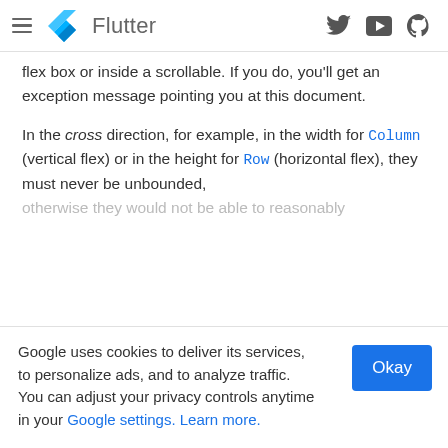Flutter
flex box or inside a scrollable. If you do, you'll get an exception message pointing you at this document.

In the cross direction, for example, in the width for Column (vertical flex) or in the height for Row (horizontal flex), they must never be unbounded, otherwise they would not be able to reasonably
Google uses cookies to deliver its services, to personalize ads, and to analyze traffic. You can adjust your privacy controls anytime in your Google settings. Learn more.